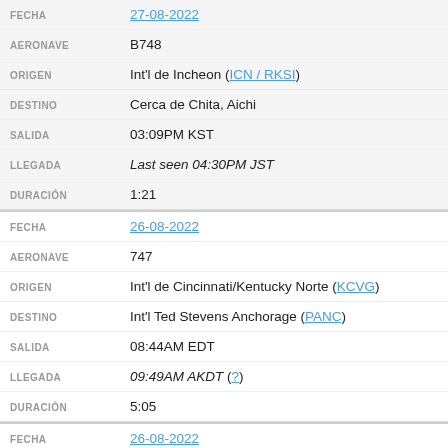| FECHA | 27-08-2022 |
| AERONAVE | B748 |
| ORIGEN | Int'l de Incheon (ICN / RKSI) |
| DESTINO | Cerca de Chita, Aichi |
| SALIDA | 03:09PM KST |
| LLEGADA | Last seen 04:30PM JST |
| DURACIÓN | 1:21 |
| FECHA | 26-08-2022 |
| AERONAVE | 747 |
| ORIGEN | Int'l de Cincinnati/Kentucky Norte (KCVG) |
| DESTINO | Int'l Ted Stevens Anchorage (PANC) |
| SALIDA | 08:44AM EDT |
| LLEGADA | 09:49AM AKDT (?) |
| DURACIÓN | 5:05 |
| FECHA | 26-08-2022 |
| AERONAVE | B748 |
| ORIGEN | Int'l de Cincinnati/Kentucky Norte (KCVG) |
| DESTINO | Int'l de Incheon (ICN / RKSI) |
| SALIDA | 08:44AM EDT |
| LLEGADA | 11:43AM KST (+1) |
| DURACIÓN | 13:59 |